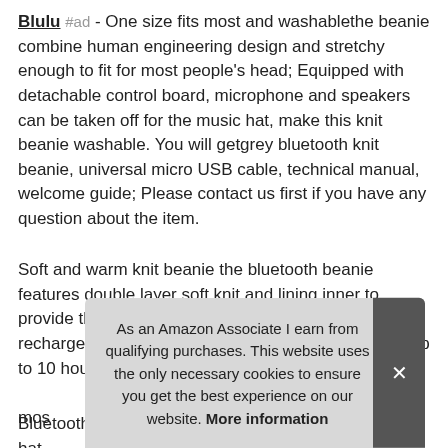Blulu #ad - One size fits most and washablethe beanie combine human engineering design and stretchy enough to fit for most people's head; Equipped with detachable control board, microphone and speakers can be taken off for the music hat, make this knit beanie washable. You will getgrey bluetooth knit beanie, universal micro USB cable, technical manual, welcome guide; Please contact us first if you have any question about the item.
Soft and warm knit beanie the bluetooth beanie features double layer soft knit and lining inner to provide the maximum comfort and secure, built-in rechargeable battery, 2 hour charging time provides up to 10 hours of playing music or talki... 15 ft... mos...
As an Amazon Associate I earn from qualifying purchases. This website uses the only necessary cookies to ensure you get the best experience on our website. More information
Bluetooth 5.0 hd high fidelity sound the music beanie hat...